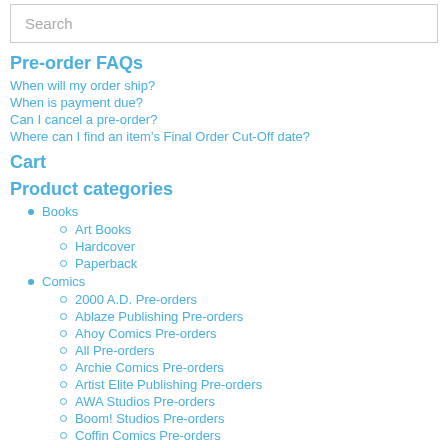Search
Pre-order FAQs
When will my order ship?
When is payment due?
Can I cancel a pre-order?
Where can I find an item's Final Order Cut-Off date?
Cart
Product categories
Books
Art Books
Hardcover
Paperback
Comics
2000 A.D. Pre-orders
Ablaze Publishing Pre-orders
Ahoy Comics Pre-orders
All Pre-orders
Archie Comics Pre-orders
Artist Elite Publishing Pre-orders
AWA Studios Pre-orders
Boom! Studios Pre-orders
Coffin Comics Pre-orders